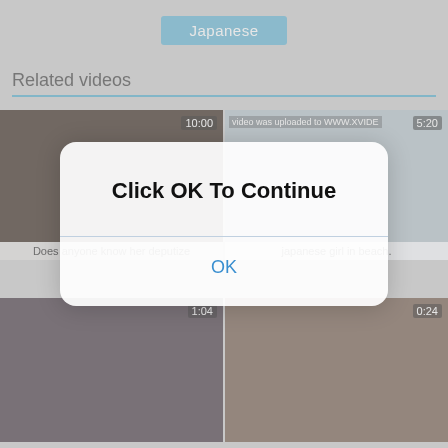[Figure (screenshot): Japanese button/tag at top of page]
Related videos
[Figure (screenshot): Video thumbnail: Does anyone know her deputize, duration 10:00]
[Figure (screenshot): Video thumbnail: japanese girl in beach, duration 5:20, watermark: video was uploaded to WWW.XVIDE]
[Figure (screenshot): Video thumbnail row 2 left, duration 1:04]
[Figure (screenshot): Video thumbnail row 2 right, duration 0:24]
Click OK To Continue
OK